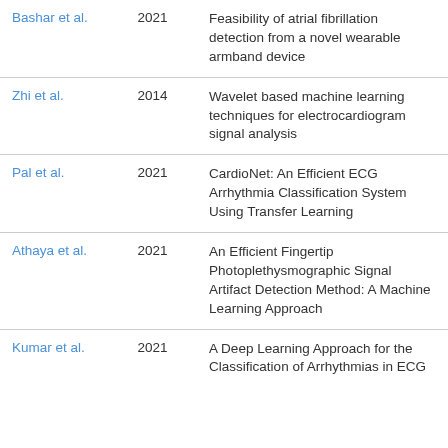| Author | Year | Title |
| --- | --- | --- |
| Bashar et al. | 2021 | Feasibility of atrial fibrillation detection from a novel wearable armband device |
| Zhi et al. | 2014 | Wavelet based machine learning techniques for electrocardiogram signal analysis |
| Pal et al. | 2021 | CardioNet: An Efficient ECG Arrhythmia Classification System Using Transfer Learning |
| Athaya et al. | 2021 | An Efficient Fingertip Photoplethysmographic Signal Artifact Detection Method: A Machine Learning Approach |
| Kumar et al. | 2021 | A Deep Learning Approach for the Classification of Arrhythmias in ECG |